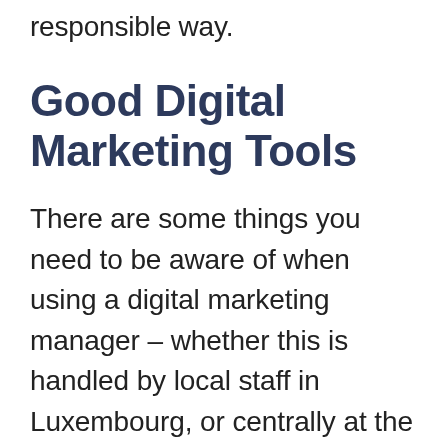responsible way.
Good Digital Marketing Tools
There are some things you need to be aware of when using a digital marketing manager – whether this is handled by local staff in Luxembourg, or centrally at the head office. Below is a handy checklist of things you need to think about, as well as the best tools you can use for either